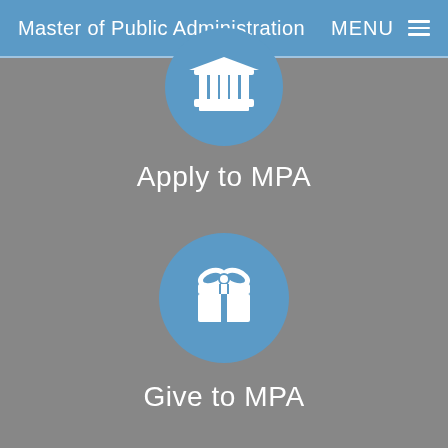Master of Public Administration   MENU
[Figure (infographic): Blue circle icon with white building/institution (columns) symbol]
Apply to MPA
[Figure (infographic): Blue circle icon with white gift box symbol]
Give to MPA
[Figure (infographic): Blue circle icon with white group/people symbol]